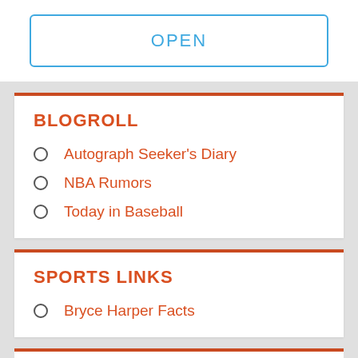OPEN
BLOGROLL
Autograph Seeker's Diary
NBA Rumors
Today in Baseball
SPORTS LINKS
Bryce Harper Facts